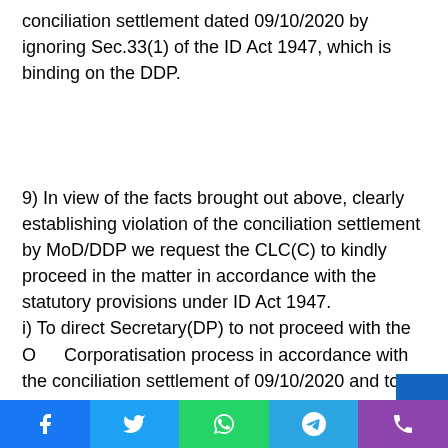conciliation settlement dated 09/10/2020 by ignoring Sec.33(1) of the ID Act 1947, which is binding on the DDP.
9) In view of the facts brought out above, clearly establishing violation of the conciliation settlement by MoD/DDP we request the CLC(C) to kindly proceed in the matter in accordance with the statutory provisions under ID Act 1947.
i) To direct Secretary(DP) to not proceed with the OFB Corporatisation process in accordance with the conciliation settlement of 09/10/2020 and to abide by the provisions of Sec.-33(1) of the ID Act 1947, failing which to take appropriate action against the Employer Viz., Secretary(DP) and the erring officials of DDP for violation of the conciliation settlement dated
[Figure (other): Blue vertical sidebar widget with grid icon of white squares arranged in a 3x4 pattern]
[Figure (other): Black scroll-to-top button with white upward chevron arrow]
[Figure (other): Social sharing bar with five buttons: Facebook (blue), Twitter (light blue), WhatsApp (green), Telegram (blue), Phone/Viber (purple)]